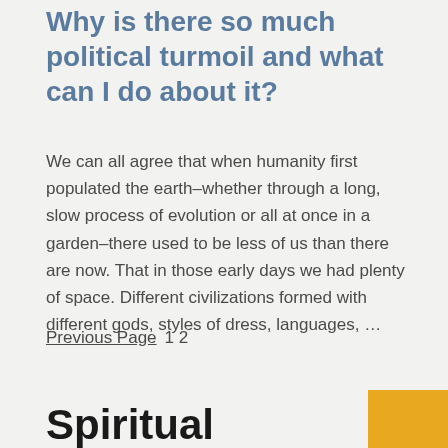Why is there so much political turmoil and what can I do about it?
We can all agree that when humanity first populated the earth–whether through a long, slow process of evolution or all at once in a garden–there used to be less of us than there are now. That in those early days we had plenty of space. Different civilizations formed with different gods, styles of dress, languages, …
Previous Page  1 2
Spiritual